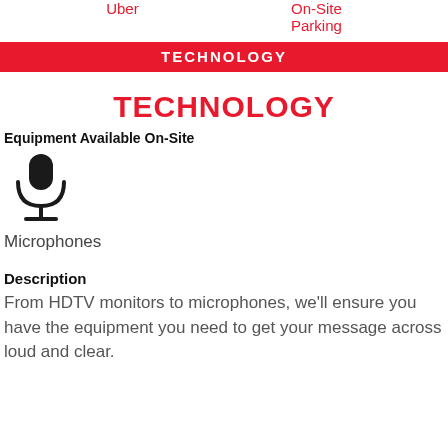Uber   On-Site Parking
TECHNOLOGY
TECHNOLOGY
Equipment Available On-Site
[Figure (illustration): Microphone icon]
Microphones
Description
From HDTV monitors to microphones, we'll ensure you have the equipment you need to get your message across loud and clear.